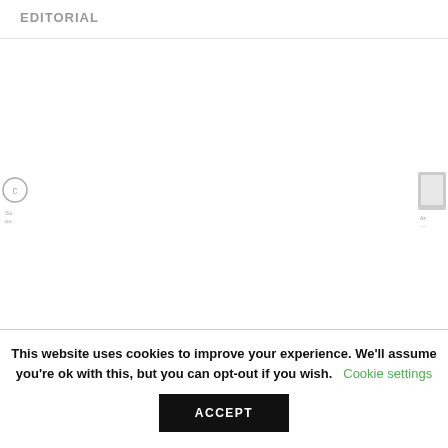EDITORIAL
This website uses cookies to improve your experience. We'll assume you're ok with this, but you can opt-out if you wish. Cookie settings ACCEPT